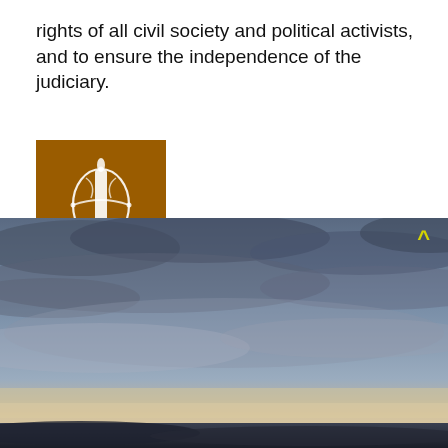rights of all civil society and political activists, and to ensure the independence of the judiciary.
[Figure (logo): Amnesty International logo on dark orange/amber background — a white candle with barbed wire around it]
[Figure (photo): Wide landscape photograph of a dramatic sky with blue-grey clouds at dusk/dawn, light horizon at bottom with subtle warm tones, dark silhouetted land at very bottom edge. A yellow chevron/caret (^) symbol appears in the upper right corner of the photo.]